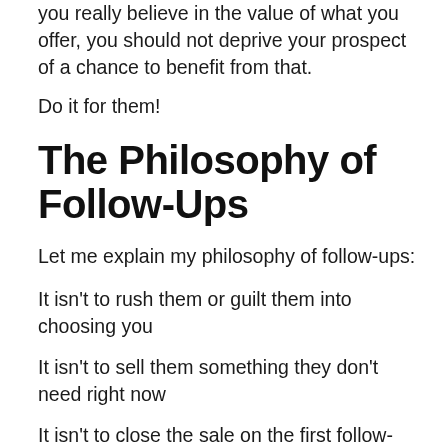you really believe in the value of what you offer, you should not deprive your prospect of a chance to benefit from that.
Do it for them!
The Philosophy of Follow-Ups
Let me explain my philosophy of follow-ups:
It isn't to rush them or guilt them into choosing you
It isn't to sell them something they don't need right now
It isn't to close the sale on the first follow-